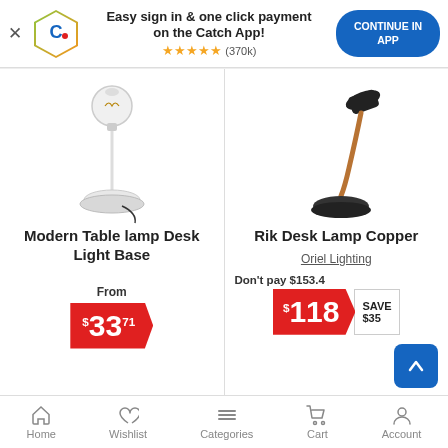[Figure (screenshot): App banner with Catch logo, sign-in text, star rating, and Continue in App button]
[Figure (photo): Modern Table lamp Desk Light Base - white lamp with globe bulb]
Modern Table lamp Desk Light Base
From $33.71
[Figure (photo): Rik Desk Lamp Copper - black desk lamp with copper arm]
Rik Desk Lamp Copper
Oriel Lighting
Don't pay $153.4 $118 SAVE $35
Home | Wishlist | Categories | Cart | Account